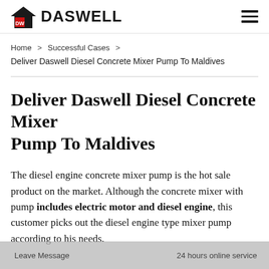DASWELL
Home > Successful Cases >
Deliver Daswell Diesel Concrete Mixer Pump To Maldives
Deliver Daswell Diesel Concrete Mixer Pump To Maldives
The diesel engine concrete mixer pump is the hot sale product on the market. Although the concrete mixer with pump includes electric motor and diesel engine, this customer picks out the diesel engine type mixer pump according to his needs.
Leave Message    24 hours online service